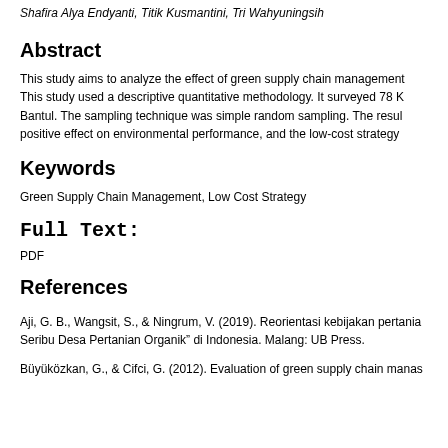Shafira Alya Endyanti, Titik Kusmantini, Tri Wahyuningsih
Abstract
This study aims to analyze the effect of green supply chain management. This study used a descriptive quantitative methodology. It surveyed 78 K Bantul. The sampling technique was simple random sampling. The resul positive effect on environmental performance, and the low-cost strategy
Keywords
Green Supply Chain Management, Low Cost Strategy
Full Text:
PDF
References
Aji, G. B., Wangsit, S., & Ningrum, V. (2019). Reorientasi kebijakan pertania Seribu Desa Pertanian Organik" di Indonesia. Malang: UB Press.
Büyüközkan, G., & Cifci, G. (2012). Evaluation of green supply chain manas